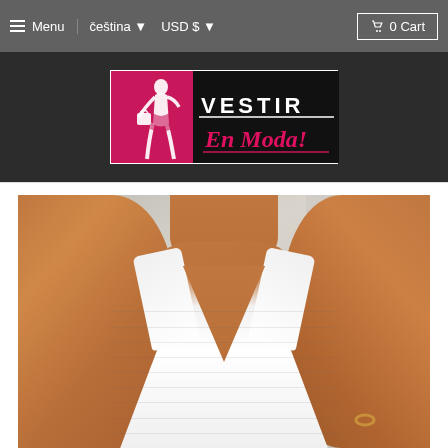Menu  čeština ▼  USD $ ▼  0 Cart
[Figure (logo): Vestir En Moda! fashion brand logo — dark background with pink silhouette of woman holding shopping bag and white text 'VESTIR En Moda!']
[Figure (photo): Close-up photo of a woman wearing a white halter-neck deep V-neck dress. The model has dark tanned skin and is shown from neck/shoulders down to mid-torso. Background is light grey wall.]